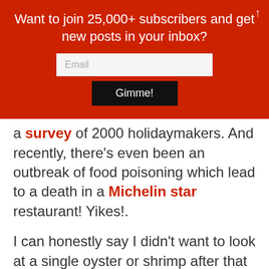[Figure (infographic): Red banner with newsletter subscription prompt: 'Want to join 25,000+ subscribers and get new posts in your inbox?' with an email input field and a 'Gimme!' button]
a survey of 2000 holidaymakers. And recently, there's even been an outbreak of food poisoning which lead to a death in a Michelin star restaurant! Yikes!.
I can honestly say I didn't want to look at a single oyster or shrimp after that ordeal and it'll be a long time before I can even think about raw oysters without freaking out again.
Luckily, our bad experience was made up by the fact that our Airbnb host was nice enough